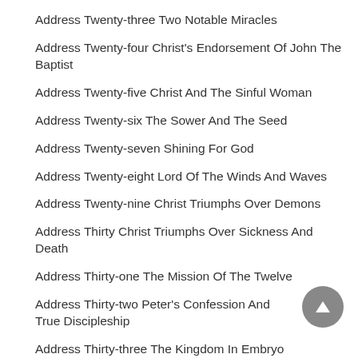Address Twenty-three Two Notable Miracles
Address Twenty-four Christ's Endorsement Of John The Baptist
Address Twenty-five Christ And The Sinful Woman
Address Twenty-six The Sower And The Seed
Address Twenty-seven Shining For God
Address Twenty-eight Lord Of The Winds And Waves
Address Twenty-nine Christ Triumphs Over Demons
Address Thirty Christ Triumphs Over Sickness And Death
Address Thirty-one The Mission Of The Twelve
Address Thirty-two Peter's Confession And True Discipleship
Address Thirty-three The Kingdom In Embryo